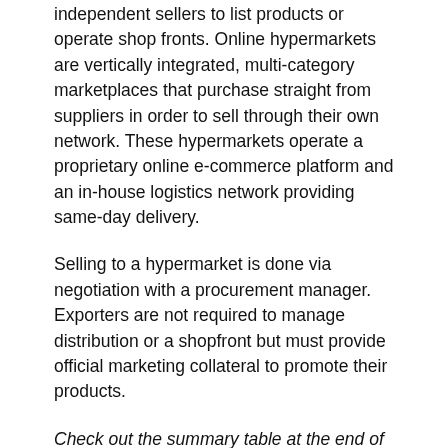independent sellers to list products or operate shop fronts. Online hypermarkets are vertically integrated, multi-category marketplaces that purchase straight from suppliers in order to sell through their own network. These hypermarkets operate a proprietary online e-commerce platform and an in-house logistics network providing same-day delivery.
Selling to a hypermarket is done via negotiation with a procurement manager. Exporters are not required to manage distribution or a shopfront but must provide official marketing collateral to promote their products.
Check out the summary table at the end of this article for the full description.